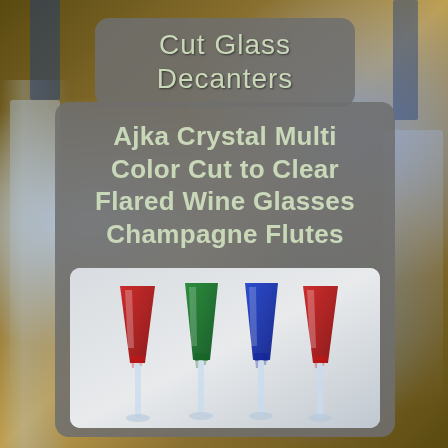Cut Glass Decanters
Ajka Crystal Multi Color Cut to Clear Flared Wine Glasses Champagne Flutes
[Figure (photo): Four colored crystal champagne flutes arranged in a row: red, green, blue, red. The flutes have colored tops that cut to clear crystal at the bottom stems. Background is a light gradient.]